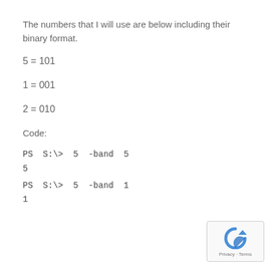The numbers that I will use are below including their binary format.
Code:
PS  S:\>  5  -band  5
5
PS  S:\>  5  -band  1
1